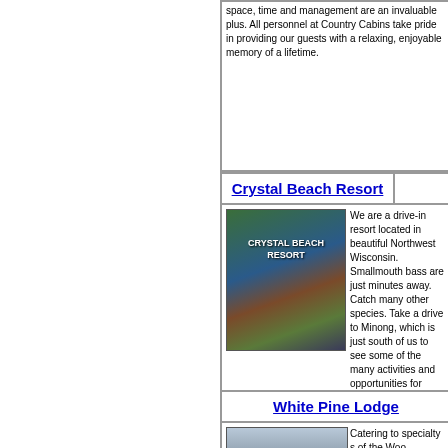space, time and management are an invaluable plus. All personnel at Country Cabins take pride in providing our guests with a relaxing, enjoyable memory of a lifetime.
Crystal Beach Resort
[Figure (photo): Man holding fish in front of Crystal Beach Resort sign]
We are a drive-in resort located in beautiful Northwest Wisconsin. Smallmouth bass are just minutes away. Catch many other species. Take a drive to Minong, which is just south of us to see some of the many activities and opportunities for...
White Pine Lodge
[Figure (photo): Man holding large pike fish with White Pine Lodge advertisement, 'imagine...' text overlay]
Catering to specialty s of the Woo American Walleye, M Whitetail D remote lak viewing &
Clean, coz the ameniti screened in porches with scenic lake views. Our popu well deserved vacation. Ask about our weekly fish fr tackle, we make your vacation dreams come true.